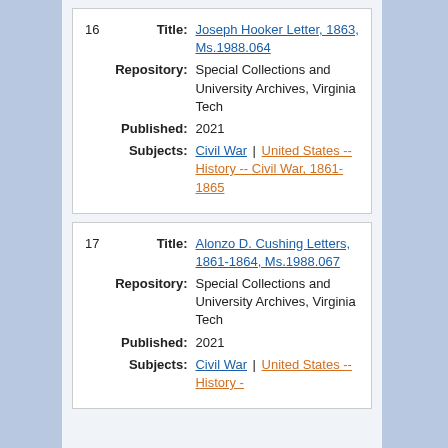16 Title: Joseph Hooker Letter, 1863, Ms.1988.064 Repository: Special Collections and University Archives, Virginia Tech Published: 2021 Subjects: Civil War | United States -- History -- Civil War, 1861-1865
17 Title: Alonzo D. Cushing Letters, 1861-1864, Ms.1988.067 Repository: Special Collections and University Archives, Virginia Tech Published: 2021 Subjects: Civil War | United States -- History -